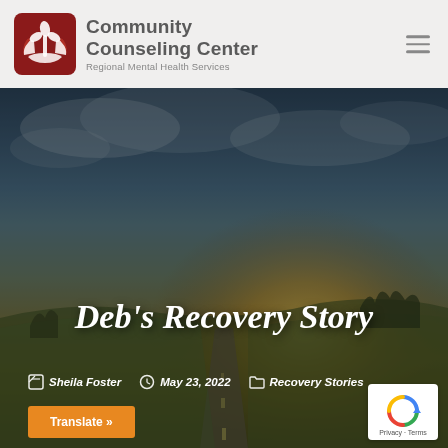Community Counseling Center – Regional Mental Health Services
Deb's Recovery Story
Sheila Foster   May 23, 2022   Recovery Stories
[Figure (illustration): Orange/amber sunrise over a rural road flanked by fields and trees under dramatic cloudy sky; serves as hero banner background.]
Translate »